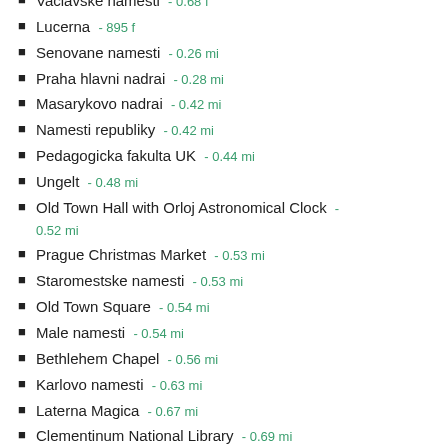Vaclavske namesti - 0.68 f
Lucerna - 895 f
Senovane namesti - 0.26 mi
Praha hlavni nadrai - 0.28 mi
Masarykovo nadrai - 0.42 mi
Namesti republiky - 0.42 mi
Pedagogicka fakulta UK - 0.44 mi
Ungelt - 0.48 mi
Old Town Hall with Orloj Astronomical Clock - 0.52 mi
Prague Christmas Market - 0.53 mi
Staromestske namesti - 0.53 mi
Old Town Square - 0.54 mi
Male namesti - 0.54 mi
Bethlehem Chapel - 0.56 mi
Karlovo namesti - 0.63 mi
Laterna Magica - 0.67 mi
Clementinum National Library - 0.69 mi
Karlovy Lazne - 0.73 mi
Old-New Synagogue - 0.73 mi